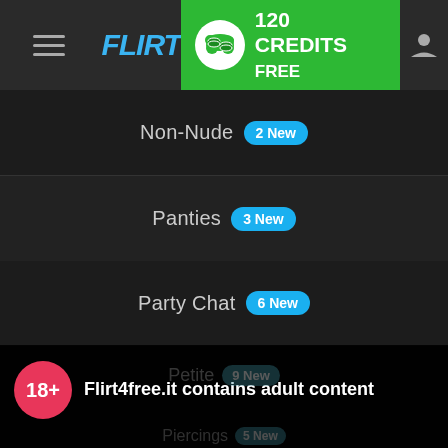FLIRT4FREE — 120 CREDITS FREE
Non-Nude  2 New
Panties  3 New
Party Chat  6 New
[Figure (screenshot): Adult content age verification overlay with 18+ badge, Flirt4free.it contains adult content notice, privacy policy and terms links, cookie notice, and I AGREE button]
Flirt4free.it contains adult content
By using the site, you acknowledge you have read our Privacy Policy, and agree to our Terms and Conditions.
We use cookies to optimize your experience, analyze traffic, and deliver more personalized service. To learn more, please see our Privacy Policy.